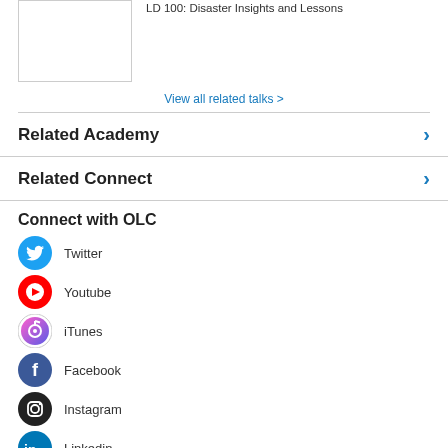[Figure (photo): Thumbnail image placeholder with border]
LD 100: Disaster Insights and Lessons
View all related talks >
Related Academy
Related Connect
Connect with OLC
Twitter
Youtube
iTunes
Facebook
Instagram
Linkedin